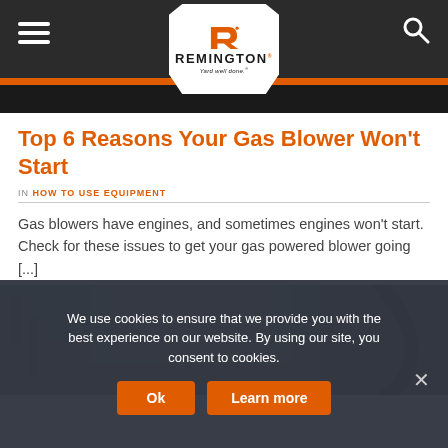Remington — Yard well done.
Top 6 Reasons Your Gas Blower Won't Start
IN HOW TO USE EQUIPMENT
Gas blowers have engines, and sometimes engines won't start. Check for these issues to get your gas powered blower going [...]
[Figure (photo): Photo of a person in a gray sweatshirt standing in a garage or workshop, with tools or equipment visible in background, and part of a gas blower or equipment visible on the right side.]
We use cookies to ensure that we provide you with the best experience on our website. By using our site, you consent to cookies.